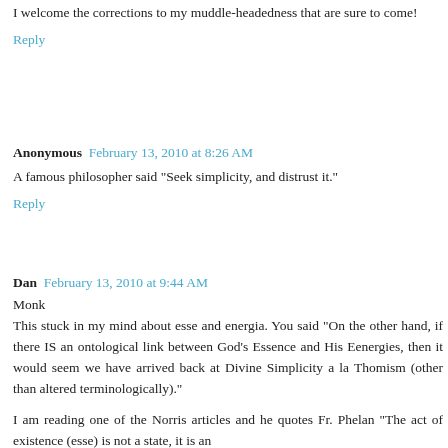I welcome the corrections to my muddle-headedness that are sure to come!
Reply
Anonymous  February 13, 2010 at 8:26 AM
A famous philosopher said "Seek simplicity, and distrust it."
Reply
Dan  February 13, 2010 at 9:44 AM
Monk
This stuck in my mind about esse and energia. You said "On the other hand, if there IS an ontological link between God's Essence and His Eenergies, then it would seem we have arrived back at Divine Simplicity a la Thomism (other than altered terminologically)."
I am reading one of the Norris articles and he quotes Fr. Phelan "The act of existence (esse) is not a state, it is an